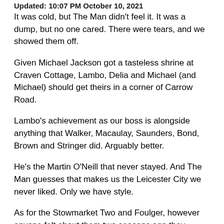Updated: 10:07 PM October 10, 2021
It was cold, but The Man didn't feel it. It was a dump, but no one cared. There were tears, and we showed them off.
Given Michael Jackson got a tasteless shrine at Craven Cottage, Lambo, Delia and Michael (and Michael) should get theirs in a corner of Carrow Road.
Lambo's achievement as our boss is alongside anything that Walker, Macaulay, Saunders, Bond, Brown and Stringer did. Arguably better.
He's the Martin O'Neill that never stayed. And The Man guesses that makes us the Leicester City we never liked. Only we have style.
As for the Stowmarket Two and Foulger, however anyone felt about them two seasons ago they deserve